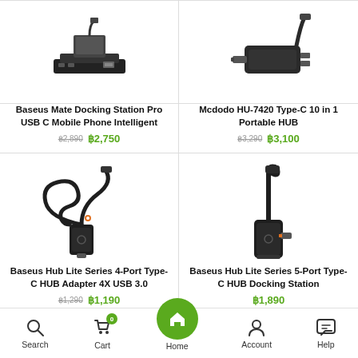[Figure (photo): Baseus Mate Docking Station Pro USB C Mobile Phone Intelligent - product image, black docking station]
Baseus Mate Docking Station Pro USB C Mobile Phone Intelligent
฿2,890 ฿2,750
[Figure (photo): Mcdodo HU-7420 Type-C 10 in 1 Portable HUB - product image, dark grey USB hub]
Mcdodo HU-7420 Type-C 10 in 1 Portable HUB
฿3,290 ฿3,100
[Figure (photo): Baseus Hub Lite Series 4-Port Type-C HUB Adapter 4X USB 3.0 - product image, black hub with long cable]
Baseus Hub Lite Series 4-Port Type-C HUB Adapter 4X USB 3.0
฿1,290 ฿1,190
[Figure (photo): Baseus Hub Lite Series 5-Port Type-C HUB Docking Station - product image, black compact hub]
Baseus Hub Lite Series 5-Port Type-C HUB Docking Station
฿1,890
Search  Cart  Home  Account  Help